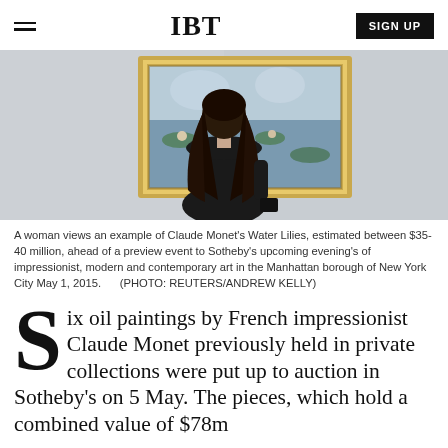IBT | SIGN UP
[Figure (photo): A woman with long dark hair viewed from behind, standing in front of a Claude Monet Water Lilies painting in a gold frame on a white gallery wall.]
A woman views an example of Claude Monet's Water Lilies, estimated between $35-40 million, ahead of a preview event to Sotheby's upcoming evening's of impressionist, modern and contemporary art in the Manhattan borough of New York City May 1, 2015.      (PHOTO: REUTERS/ANDREW KELLY)
Six oil paintings by French impressionist Claude Monet previously held in private collections were put up to auction in Sotheby's on 5 May. The pieces, which hold a combined value of $78m